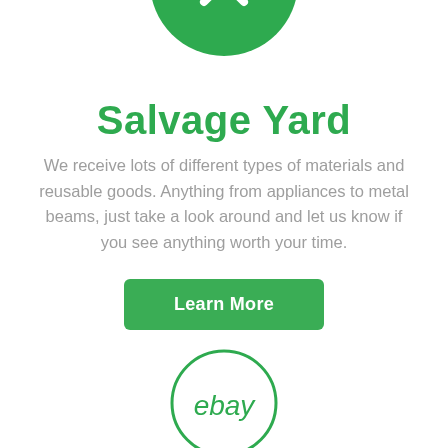[Figure (illustration): Green circle icon with crossed tools/spatulas symbol inside, partially cropped at top of page]
Salvage Yard
We receive lots of different types of materials and reusable goods. Anything from appliances to metal beams, just take a look around and let us know if you see anything worth your time.
[Figure (illustration): Green outlined circle containing the eBay logo text in green]
Sell/What Exists...